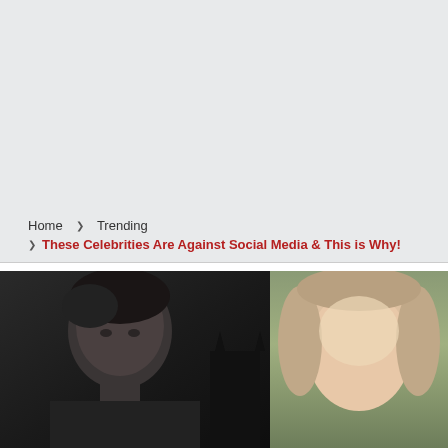[Figure (other): Light gray banner/advertisement area at top of page]
Home  ❯  Trending
❯  These Celebrities Are Against Social Media & This is Why!
[Figure (photo): Photo strip showing two celebrities side by side — left side is a black and white close-up of a male celebrity, right side is a color close-up of a female celebrity with light brown hair]
x